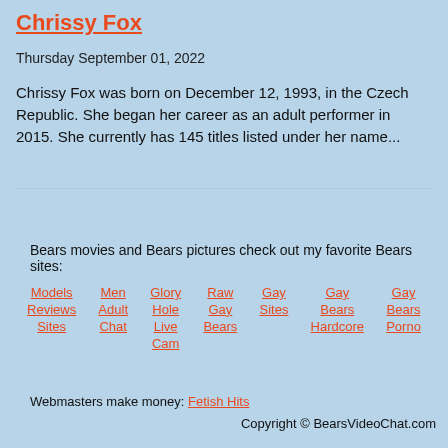Chrissy Fox
Thursday September 01, 2022
Chrissy Fox was born on December 12, 1993, in the Czech Republic. She began her career as an adult performer in 2015. She currently has 145 titles listed under her name...
Bears movies and Bears pictures check out my favorite Bears sites:
Models Reviews Sites
Men Adult Chat
Glory Hole Live Cam
Raw Gay Bears
Gay Sites
Gay Bears Hardcore
Gay Bears Porno
Webmasters make money: Fetish Hits
Copyright © BearsVideoChat.com